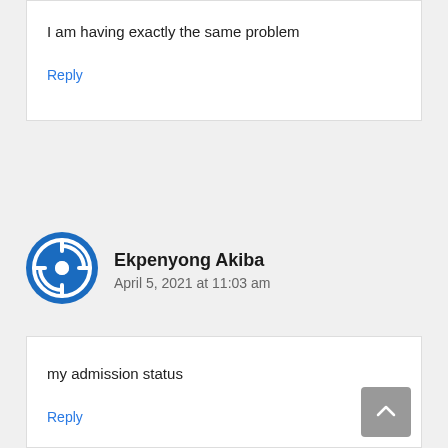I am having exactly the same problem
Reply
Ekpenyong Akiba
April 5, 2021 at 11:03 am
my admission status
Reply